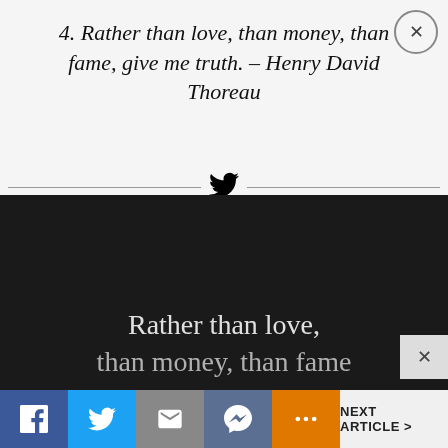4. Rather than love, than money, than fame, give me truth. – Henry David Thoreau
[Figure (illustration): Dark background image section showing the beginning of the Thoreau quote 'Rather than love, than money, than fame' in large white serif text]
NEXT ARTICLE >